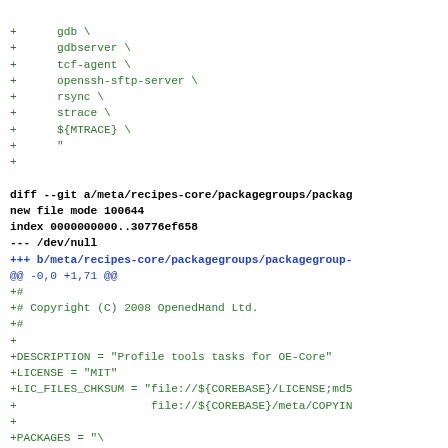diff code listing showing git diff output with green added lines and blue/black headers